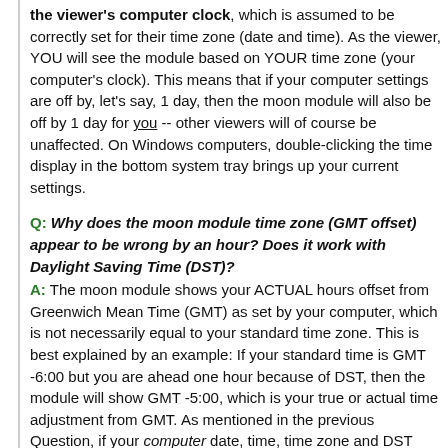the viewer's computer clock, which is assumed to be correctly set for their time zone (date and time). As the viewer, YOU will see the module based on YOUR time zone (your computer's clock). This means that if your computer settings are off by, let's say, 1 day, then the moon module will also be off by 1 day for you -- other viewers will of course be unaffected. On Windows computers, double-clicking the time display in the bottom system tray brings up your current settings.
Q: Why does the moon module time zone (GMT offset) appear to be wrong by an hour? Does it work with Daylight Saving Time (DST)?
A: The moon module shows your ACTUAL hours offset from Greenwich Mean Time (GMT) as set by your computer, which is not necessarily equal to your standard time zone. This is best explained by an example: If your standard time is GMT -6:00 but you are ahead one hour because of DST, then the module will show GMT -5:00, which is your true or actual time adjustment from GMT. As mentioned in the previous Question, if your computer date, time, time zone and DST settings are correct, rest assured that the module is working properly.
Q: I am seeing a blank area with a red "X".